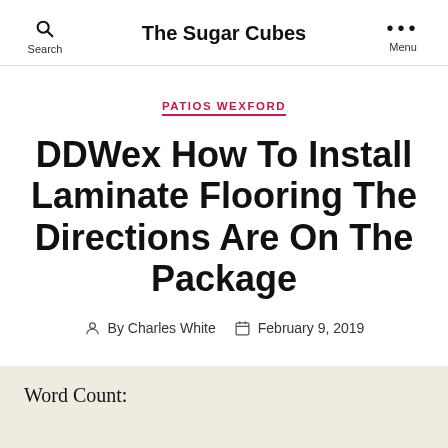The Sugar Cubes
PATIOS WEXFORD
DDWex How To Install Laminate Flooring The Directions Are On The Package
By Charles White  February 9, 2019
Word Count: